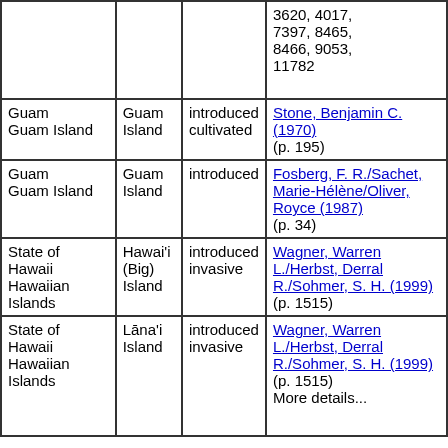| Location | Island | Status | Reference |
| --- | --- | --- | --- |
|  |  |  | 3620, 4017, 7397, 8465, 8466, 9053, 11782 |
| Guam
Guam Island | Guam Island | introduced cultivated | Stone, Benjamin C. (1970) (p. 195) |
| Guam
Guam Island | Guam Island | introduced | Fosberg, F. R./Sachet, Marie-Hélène/Oliver, Royce (1987) (p. 34) |
| State of Hawaii
Hawaiian Islands | Hawai'i (Big) Island | introduced invasive | Wagner, Warren L./Herbst, Derral R./Sohmer, S. H. (1999) (p. 1515) |
| State of Hawaii
Hawaiian Islands | Lāna'i Island | introduced invasive | Wagner, Warren L./Herbst, Derral R./Sohmer, S. H. (1999) (p. 1515)
More details... |